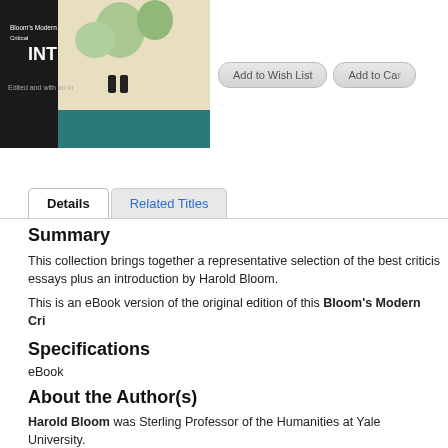[Figure (illustration): Book cover of Bloom's Modern Critical Interpretations, showing an illustration with figures and greenery on a teal/dark background]
Add to Wish List
Add to Cart
Details | Related Titles (tabs)
Summary
This collection brings together a representative selection of the best criticism essays plus an introduction by Harold Bloom.
This is an eBook version of the original edition of this Bloom's Modern Cri
Specifications
eBook
About the Author(s)
Harold Bloom was Sterling Professor of the Humanities at Yale University. hundreds of articles, reviews, and editorial introductions; and edited hundre Academy of Arts and Letters Gold Medal for Criticism. He has also received Christian Andersen Bicentennial Prize of Denmark.